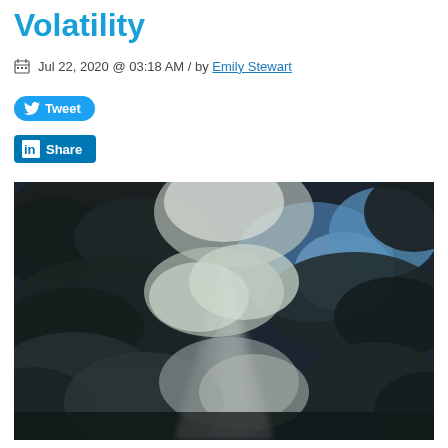Volatility
Jul 22, 2020 @ 03:18 AM / by Emily Stewart
[Figure (other): Tweet button with Twitter bird icon]
[Figure (other): LinkedIn Share button with LinkedIn icon]
[Figure (photo): Dramatic sky photograph showing dark storm clouds with rays of sunlight breaking through, monochromatic dark tones with white light streaks]